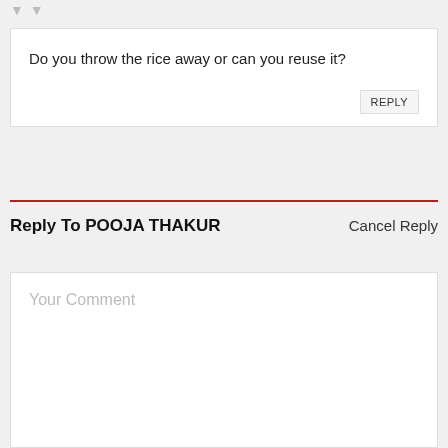Do you throw the rice away or can you reuse it?
REPLY
Reply To POOJA THAKUR
Cancel Reply
Your Comment